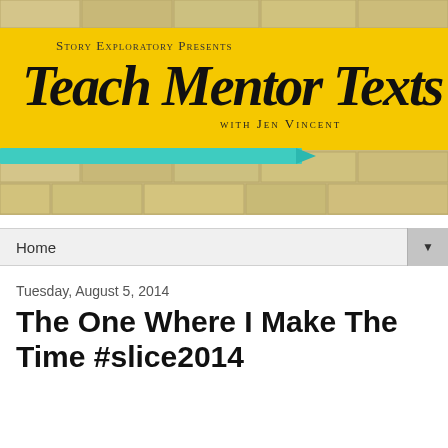[Figure (illustration): Blog header banner for 'Teach Mentor Texts with Jen Vincent' by Story Exploratory. Yellow band with handwritten-style title text over a brick wall background, with a teal marker drawn across the bottom of the yellow band.]
Home
Tuesday, August 5, 2014
The One Where I Make The Time #slice2014